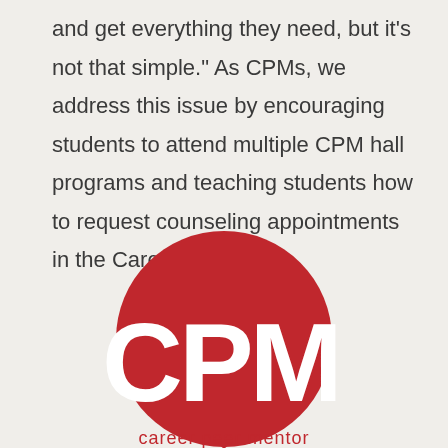and get everything they need, but it's not that simple." As CPMs, we address this issue by encouraging students to attend multiple CPM hall programs and teaching students how to request counseling appointments in the Career Center.
[Figure (logo): CPM Career Peer Mentor logo: a large red circle with white letters 'CPM' in bold, and the text 'career peer mentor' below in red on a light background.]